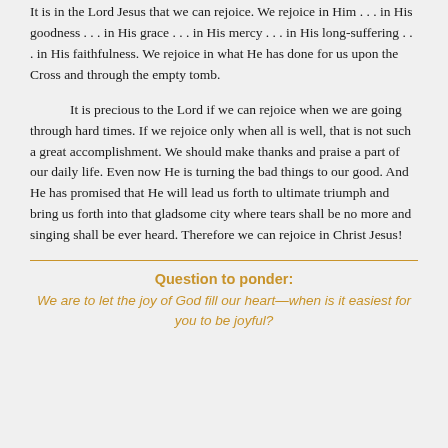It is in the Lord Jesus that we can rejoice. We rejoice in Him . . . in His goodness . . . in His grace . . . in His mercy . . . in His long-suffering . . . in His faithfulness. We rejoice in what He has done for us upon the Cross and through the empty tomb.
It is precious to the Lord if we can rejoice when we are going through hard times. If we rejoice only when all is well, that is not such a great accomplishment. We should make thanks and praise a part of our daily life. Even now He is turning the bad things to our good. And He has promised that He will lead us forth to ultimate triumph and bring us forth into that gladsome city where tears shall be no more and singing shall be ever heard. Therefore we can rejoice in Christ Jesus!
Question to ponder: We are to let the joy of God fill our heart—when is it easiest for you to be joyful?